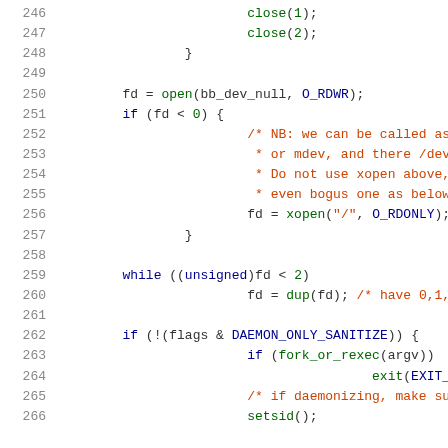Code listing lines 246-266, C source code showing daemon initialization with file descriptor handling
246: close(1);
247: close(2);
248: }
249: (blank)
250: fd = open(bb_dev_null, O_RDWR);
251: if (fd < 0) {
252: /* NB: we can be called as bb_sa
253: * or mdev, and there /dev/null
254: * Do not use xopen above, but e
255: * even bogus one as below. */
256: fd = xopen("/", O_RDONLY); /* d
257: }
258: (blank)
259: while ((unsigned)fd < 2)
260: fd = dup(fd); /* have 0,1,2 open
261: (blank)
262: if (!(flags & DAEMON_ONLY_SANITIZE)) {
263: if (fork_or_rexec(argv))
264: exit(EXIT_SUCCESS); /* p
265: /* if daemonizing, make sure we
266: setsid();